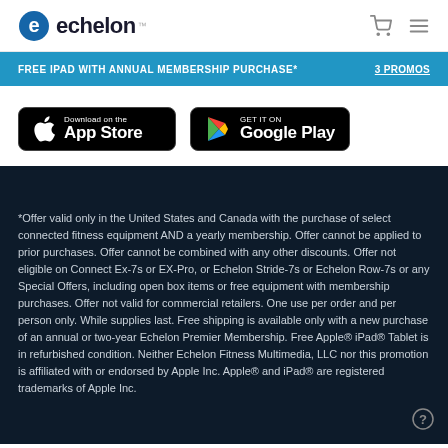echelon
FREE IPAD WITH ANNUAL MEMBERSHIP PURCHASE*    3 PROMOS
[Figure (logo): Download on the App Store button (black, rounded rectangle with Apple logo)]
[Figure (logo): Get it on Google Play button (black, rounded rectangle with Google Play logo)]
*Offer valid only in the United States and Canada with the purchase of select connected fitness equipment AND a yearly membership. Offer cannot be applied to prior purchases. Offer cannot be combined with any other discounts. Offer not eligible on Connect Ex-7s or EX-Pro, or Echelon Stride-7s or Echelon Row-7s or any Special Offers, including open box items or free equipment with membership purchases. Offer not valid for commercial retailers. One use per order and per person only. While supplies last. Free shipping is available only with a new purchase of an annual or two-year Echelon Premier Membership. Free Apple® iPad® Tablet is in refurbished condition. Neither Echelon Fitness Multimedia, LLC nor this promotion is affiliated with or endorsed by Apple Inc. Apple® and iPad® are registered trademarks of Apple Inc.